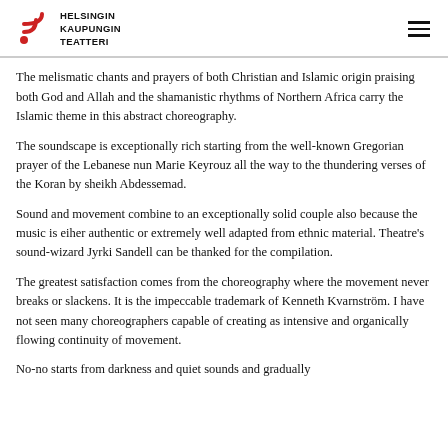Helsingin Kaupungin Teatteri
The melismatic chants and prayers of both Christian and Islamic origin praising both God and Allah and the shamanistic rhythms of Northern Africa carry the Islamic theme in this abstract choreography.
The soundscape is exceptionally rich starting from the well-known Gregorian prayer of the Lebanese nun Marie Keyrouz all the way to the thundering verses of the Koran by sheikh Abdessemad.
Sound and movement combine to an exceptionally solid couple also because the music is eiher authentic or extremely well adapted from ethnic material. Theatre's sound-wizard Jyrki Sandell can be thanked for the compilation.
The greatest satisfaction comes from the choreography where the movement never breaks or slackens. It is the impeccable trademark of Kenneth Kvarnström. I have not seen many choreographers capable of creating as intensive and organically flowing continuity of movement.
No-no starts from darkness and quiet sounds and gradually